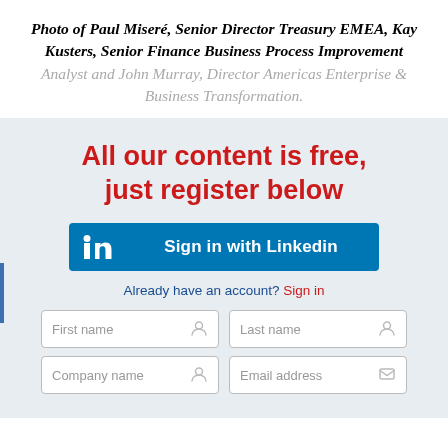Photo of Paul Miseré, Senior Director Treasury EMEA, Kay Kusters, Senior Finance Business Process Improvement Analyst and John Murray, Director Americas Enterprise & Business Transformation.
All our content is free, just register below
[Figure (screenshot): LinkedIn sign-in button and registration form fields for First name, Last name, Company name, Email address]